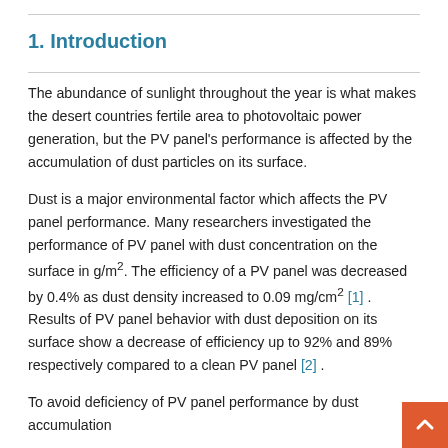1. Introduction
The abundance of sunlight throughout the year is what makes the desert countries fertile area to photovoltaic power generation, but the PV panel’s performance is affected by the accumulation of dust particles on its surface.
Dust is a major environmental factor which affects the PV panel performance. Many researchers investigated the performance of PV panel with dust concentration on the surface in g/m². The efficiency of a PV panel was decreased by 0.4% as dust density increased to 0.09 mg/cm² [1] . Results of PV panel behavior with dust deposition on its surface show a decrease of efficiency up to 92% and 89% respectively compared to a clean PV panel [2] .
To avoid deficiency of PV panel performance by dust accumulation